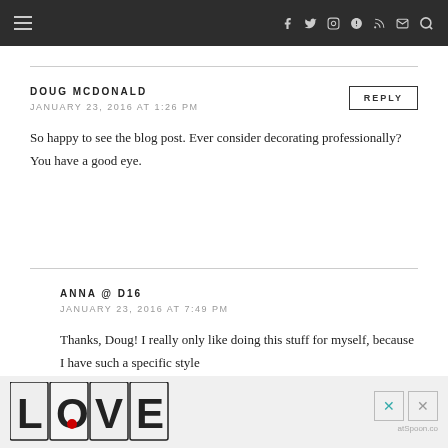≡  f  🐦  📷  🅿  ℛ  ✉  🔍
DOUG MCDONALD
JANUARY 23, 2016 AT 1:26 PM
So happy to see the blog post. Ever consider decorating professionally? You have a good eye.
ANNA @ D16
JANUARY 23, 2016 AT 7:49 PM
Thanks, Doug! I really only like doing this stuff for myself, because I have such a specific style
[Figure (advertisement): LOVE advertisement banner with decorative lettering and close buttons]